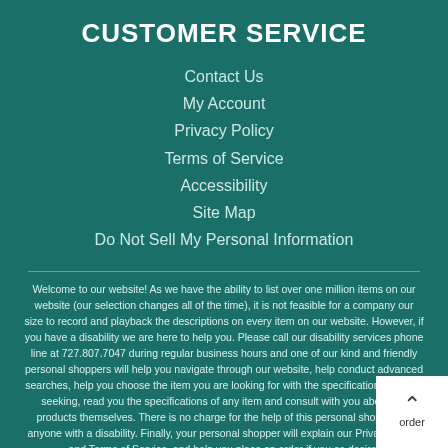CUSTOMER SERVICE
Contact Us
My Account
Privacy Policy
Terms of Service
Accessibility
Site Map
Do Not Sell My Personal Information
Welcome to our website! As we have the ability to list over one million items on our website (our selection changes all of the time), it is not feasible for a company our size to record and playback the descriptions on every item on our website. However, if you have a disability we are here to help you. Please call our disability services phone line at 727.807.7047 during regular business hours and one of our kind and friendly personal shoppers will help you navigate through our website, help conduct advanced searches, help you choose the item you are looking for with the specifications you are seeking, read you the specifications of any item and consult with you about the products themselves. There is no charge for the help of this personal shopper for anyone with a disability. Finally, your personal shopper will explain our Privacy Policy and Terms of Service, and help you place an order if you so desire.